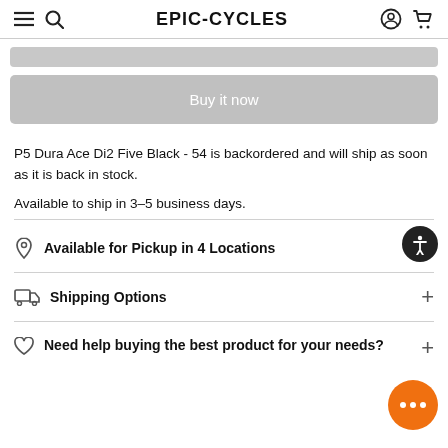EPIC-CYCLES
[Figure (other): Gray button/bar at top of page]
Buy it now
P5 Dura Ace Di2 Five Black - 54 is backordered and will ship as soon as it is back in stock.
Available to ship in 3–5 business days.
Available for Pickup in 4 Locations
Shipping Options
Need help buying the best product for your needs?